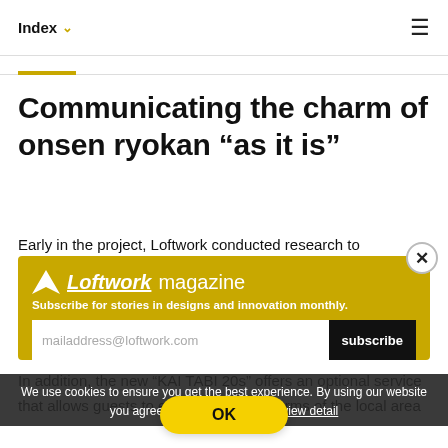Index ▾  ≡
Communicating the charm of onsen ryokan “as it is”
Early in the project, Loftwork conducted research to determine the directi... thatKAI wa... are furnish... and seaso... ingredients...
[Figure (infographic): Loftwork magazine newsletter subscription popup with yellow background, logo, subscribe form with email input and subscribe button, and close button]
We use cookies to ensure you get the best experience. By using our website you agree to our Cookie Policy. view detail
In addition, the new “KAI TABI 20s” offers an optional service that allows guests to experience the charms of the local area